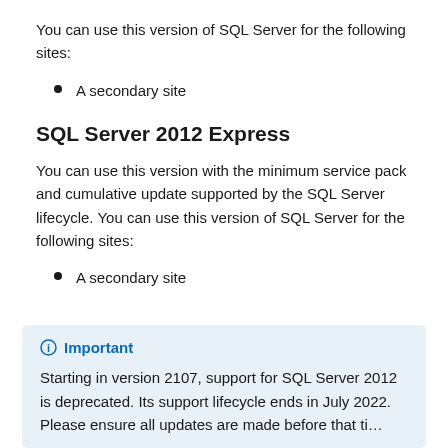You can use this version of SQL Server for the following sites:
A secondary site
SQL Server 2012 Express
You can use this version with the minimum service pack and cumulative update supported by the SQL Server lifecycle. You can use this version of SQL Server for the following sites:
A secondary site
Important
Starting in version 2107, support for SQL Server 2012 is deprecated. Its support lifecycle ends in July 2022. Please...